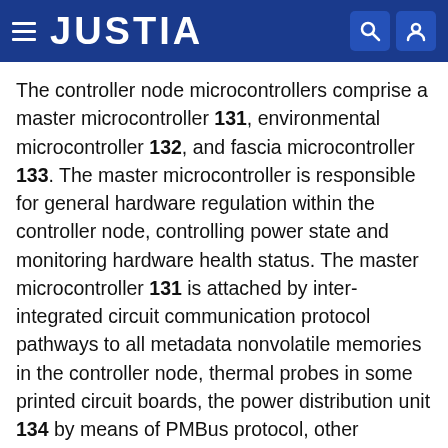JUSTIA
The controller node microcontrollers comprise a master microcontroller 131, environmental microcontroller 132, and fascia microcontroller 133. The master microcontroller is responsible for general hardware regulation within the controller node, controlling power state and monitoring hardware health status. The master microcontroller 131 is attached by inter-integrated circuit communication protocol pathways to all metadata nonvolatile memories in the controller node, thermal probes in some printed circuit boards, the power distribution unit 134 by means of PMBus protocol, other microcontrollers, the physical administration interface 136, the intelligent platform management bus header on the main computer 130, by network interface to the internal network switch 121, and by universal serial bus to the management